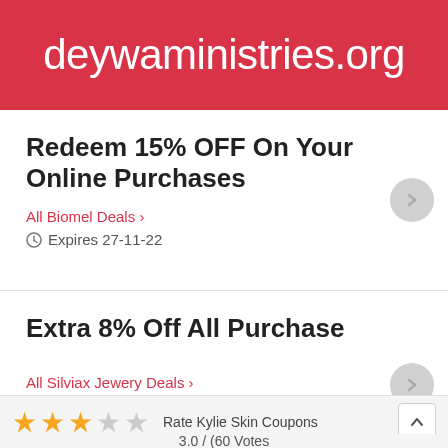deywaministries.org
Redeem 15% OFF On Your Online Purchases
All Biomel Deals >
Expires 27-11-22
Extra 8% Off All Purchase
All Silviax Jewery Deals >
Expires 6-9-22
Rate Kylie Skin Coupons  3.0 / (60 Votes